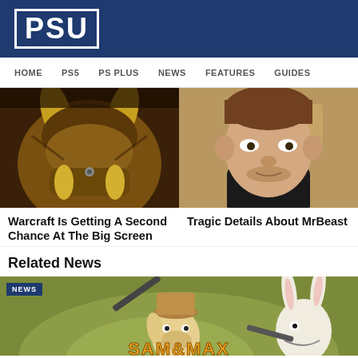PSU
HOME  PS5  PS PLUS  NEWS  FEATURES  GUIDES
[Figure (photo): Close-up of a fantasy orc creature face with yellow tusks and horns, from the Warcraft movie]
[Figure (photo): Close-up photo of a young man with light stubble, MrBeast]
Warcraft Is Getting A Second Chance At The Big Screen
Tragic Details About MrBeast
Related News
[Figure (photo): Sam & Max game banner image with Sam (dog in hat) and Max (white rabbit with gun), text reads SAM & MAX at bottom]